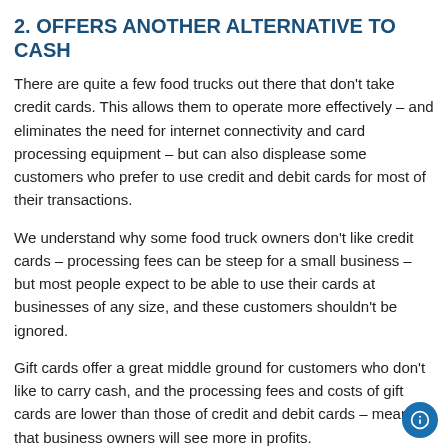2. OFFERS ANOTHER ALTERNATIVE TO CASH
There are quite a few food trucks out there that don't take credit cards. This allows them to operate more effectively – and eliminates the need for internet connectivity and card processing equipment – but can also displease some customers who prefer to use credit and debit cards for most of their transactions.
We understand why some food truck owners don't like credit cards – processing fees can be steep for a small business – but most people expect to be able to use their cards at businesses of any size, and these customers shouldn't be ignored.
Gift cards offer a great middle ground for customers who don't like to carry cash, and the processing fees and costs of gift cards are lower than those of credit and debit cards – meaning that business owners will see more in profits.
In addition, implementing a gift card program gives food trucks the perfect opportunity to start accepting credit and debit cards. Most